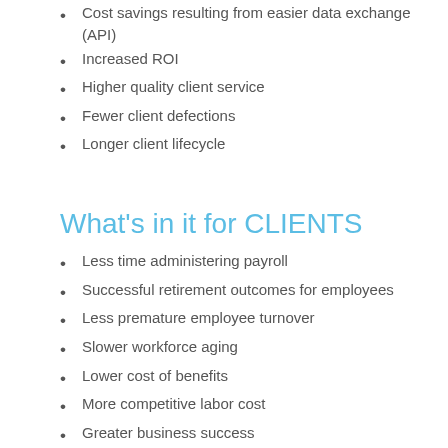Cost savings resulting from easier data exchange (API)
Increased ROI
Higher quality client service
Fewer client defections
Longer client lifecycle
What's in it for CLIENTS
Less time administering payroll
Successful retirement outcomes for employees
Less premature employee turnover
Slower workforce aging
Lower cost of benefits
More competitive labor cost
Greater business success